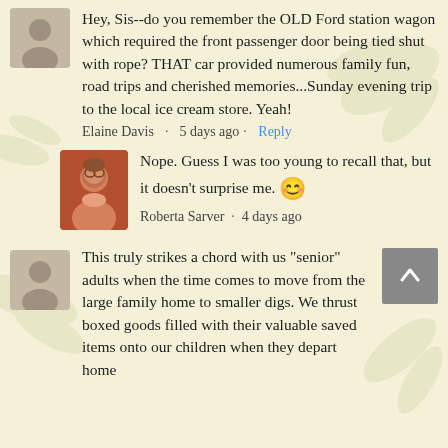Hey, Sis--do you remember the OLD Ford station wagon which required the front passenger door being tied shut with rope? THAT car provided numerous family fun, road trips and cherished memories...Sunday evening trip to the local ice cream store. Yeah!
Elaine Davis · 5 days ago · Reply
Nope. Guess I was too young to recall that, but it doesn't surprise me. 😊
Roberta Sarver · 4 days ago
This truly strikes a chord with us "senior" adults when the time comes to move from the large family home to smaller digs. We thrust boxed goods filled with their valuable saved items onto our children when they depart home